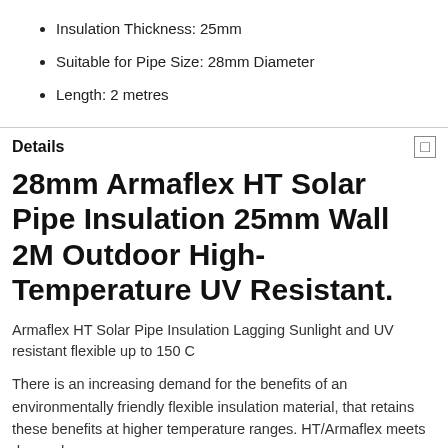Insulation Thickness: 25mm
Suitable for Pipe Size: 28mm Diameter
Length: 2 metres
Details
28mm Armaflex HT Solar Pipe Insulation 25mm Wall 2M Outdoor High-Temperature UV Resistant.
Armaflex HT Solar Pipe Insulation Lagging Sunlight and UV resistant flexible up to 150 C
There is an increasing demand for the benefits of an environmentally friendly flexible insulation material, that retains these benefits at higher temperature ranges. HT/Armaflex meets demand.
The Advantage Of Specifying